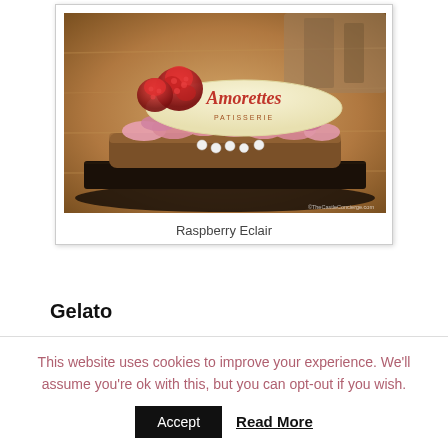[Figure (photo): Photo of an Amorettes patisserie raspberry eclair on a wooden surface — eclair has pink frosting swirls, white pearl decorations, a cream-colored oval tag reading 'Amorettes PATISSERIE' in red script, and two raspberries on top. Watermark reads ©TheCastleConcierge.com]
Raspberry Eclair
Gelato
This website uses cookies to improve your experience. We'll assume you're ok with this, but you can opt-out if you wish.